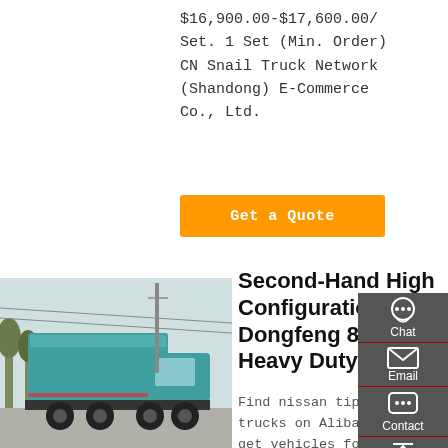$16,900.00-$17,600.00/ Set. 1 Set (Min. Order) CN Snail Truck Network (Shandong) E-Commerce Co., Ltd.
Get a Quote
[Figure (photo): Rear view of a teal/turquoise Dongfeng heavy duty dump truck in a parking area]
Second-Hand High Configuration Dongfeng 8X4 Heavy Duty
Find nissan tipper trucks on Alibaba.com to get vehicles for your